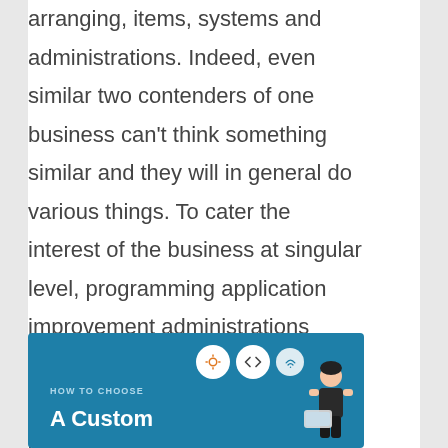arranging, items, systems and administrations. Indeed, even similar two contenders of one business can't think something similar and they will in general do various things. To cater the interest of the business at singular level, programming application improvement administrations assume a significant part; it creates any ideal component or any application.
[Figure (infographic): Blue infographic banner with text 'HOW TO CHOOSE' and 'A Custom' in white, with circular icons (lightbulb, code brackets, wifi) and a person illustration on the right side.]